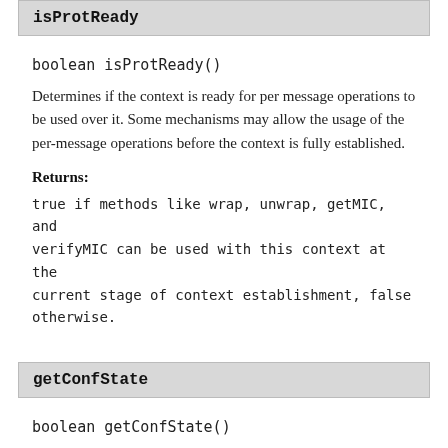isProtReady
boolean isProtReady()
Determines if the context is ready for per message operations to be used over it. Some mechanisms may allow the usage of the per-message operations before the context is fully established.
Returns:
true if methods like wrap, unwrap, getMIC, and verifyMIC can be used with this context at the current stage of context establishment, false otherwise.
getConfState
boolean getConfState()
Determines if data confidentiality is available over the context. This method can be called by both the context initiator and the context acceptor, but only